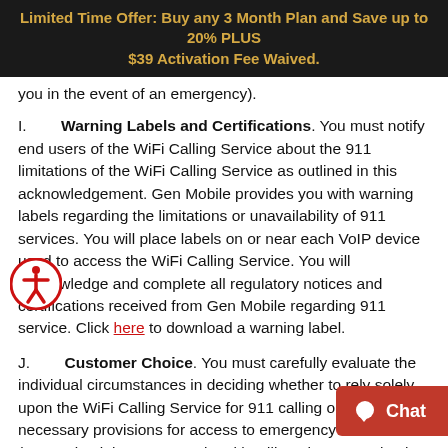Limited Time Offer: Buy any 3 Month Plan and Save up to 20% PLUS $39 Activation Fee Waived.
you in the event of an emergency).
I.   Warning Labels and Certifications. You must notify end users of the WiFi Calling Service about the 911 limitations of the WiFi Calling Service as outlined in this acknowledgement. Gen Mobile provides you with warning labels regarding the limitations or unavailability of 911 services. You will place labels on or near each VoIP device used to access the WiFi Calling Service. You will acknowledge and complete all regulatory notices and certifications received from Gen Mobile regarding 911 service. Click here to download a warning label.
J.   Customer Choice. You must carefully evaluate the individual circumstances in deciding whether to rely solely upon the WiFi Calling Service for 911 calling or to make necessary provisions for access to emergency services (e.g. maintaining a conventional landline phone as a backup